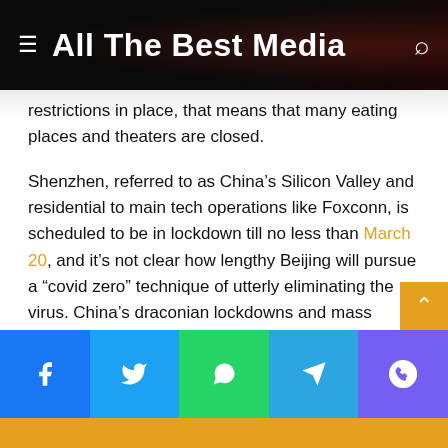All The Best Media
restrictions in place, that means that many eating places and theaters are closed.
Shenzhen, referred to as China’s Silicon Valley and residential to main tech operations like Foxconn, is scheduled to be in lockdown till no less than March 20, and it’s not clear how lengthy Beijing will pursue a “covid zero” technique of utterly eliminating the virus. China’s draconian lockdowns and mass testing have been capable of largely remove the coronavirus over the previous two years, however the more-transmissible omicron variant is proving a lot tougher to crush.
Many westerners have questioned whether or not China’s
Facebook Twitter WhatsApp Telegram Viber